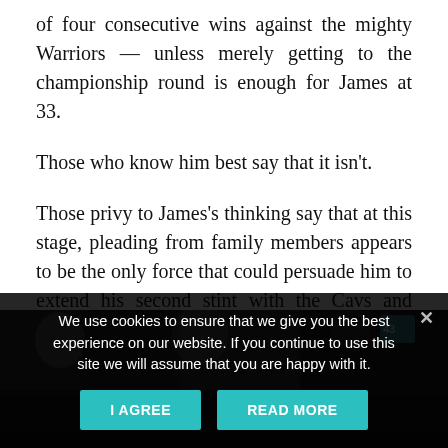of four consecutive wins against the mighty Warriors — unless merely getting to the championship round is enough for James at 33.
Those who know him best say that it isn't.
Those privy to James's thinking say that at this stage, pleading from family members appears to be the only force that could persuade him to extend his second stint with the Cavs and resist the opportunity to switch teams, as he did in 2010 and again in 2014.
[Figure (photo): Dark photo strip showing basketball players, partially visible at the bottom of the page]
We use cookies to ensure that we give you the best experience on our website. If you continue to use this site we will assume that you are happy with it.